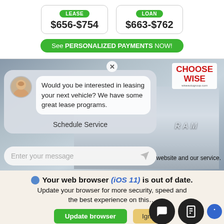[Figure (screenshot): Lease and loan payment comparison boxes showing LEASE $656-$754 and LOAN $663-$762 with a green See PERSONALIZED PAYMENTS NOW! button]
[Figure (screenshot): Car dealership chatbot popup overlay on RAM truck background with 'Choose Wise' branding. Chat says 'Would you be interested in leasing your next vehicle? We have some great lease programs.' with Schedule Service option and Enter your message input. Close X button visible.]
[Figure (screenshot): Browser update warning banner: 'Your web browser (iOS 11) is out of date. Update your browser for more security, speed and the best experience on this...' with Update browser (green) and Ignore (yellow) buttons. Two chat icons and accessibility icon at bottom right.]